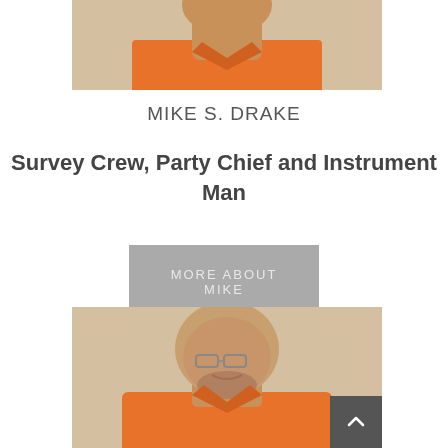[Figure (photo): Top portion of a person wearing an orange shirt, cropped at the torso/shoulder area, against a beige/tan background.]
MIKE S. DRAKE
Survey Crew, Party Chief and Instrument Man
MORE ABOUT MIKE
[Figure (photo): Portrait photo of a bald heavyset man with glasses and a beard, wearing an orange shirt, against a beige background.]